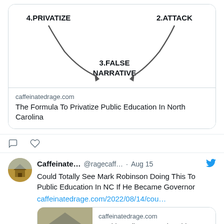[Figure (infographic): Circular diagram with arrows showing steps: 4.PRIVATIZE (top-left), 2.ATTACK (top-right), 3.FALSE NARRATIVE (bottom-center). Top portion of a cycle diagram is visible.]
caffeinatedrage.com
The Formula To Privatize Public Education In North Carolina
Caffeinate... @ragecaff... · Aug 15
Could Totally See Mark Robinson Doing This To Public Education In NC If He Became Governor
caffeinatedrage.com/2022/08/14/cou...
caffeinatedrage.com
Could Totally See Mark Robinson Doing This T...